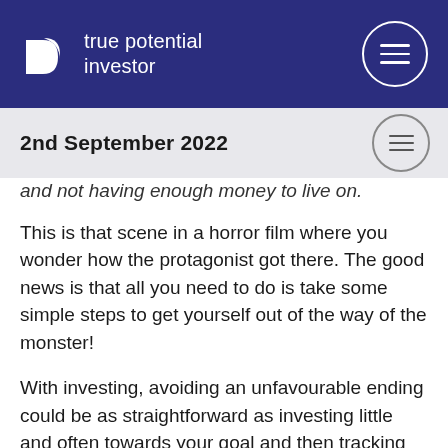true potential investor
2nd September 2022
and not having enough money to live on.
This is that scene in a horror film where you wonder how the protagonist got there. The good news is that all you need to do is take some simple steps to get yourself out of the way of the monster!
With investing, avoiding an unfavourable ending could be as straightforward as investing little and often towards your goal and then tracking your performance to make sure you'll achieve your aim.
You can work out how long you have left until retirement and how much you'll need to invest each month to hit your goal. That will also mean the